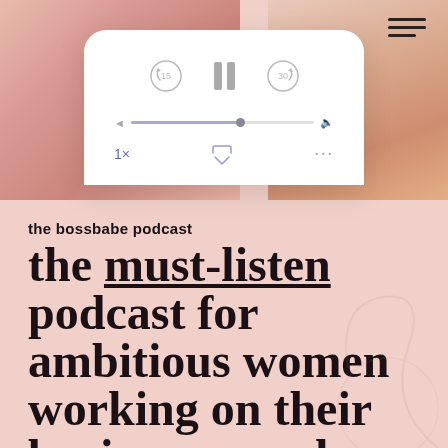[Figure (screenshot): Podcast player app UI mockup showing playback controls (rewind 15s, pause, forward 30s), a progress bar at roughly 60%, speed set to 1x, AirPlay icon, and more options (...). Background shows two blurred pink/peach imagery panels on left and right with a hamburger menu icon top right.]
the bossbabe podcast
the must-listen podcast for ambitious women working on their businesses and